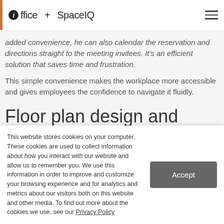ioffice + SpaceIQ
added convenience, he can also calendar the reservation and directions straight to the meeting invitees. It's an efficient solution that saves time and frustration.
This simple convenience makes the workplace more accessible and gives employees the confidence to navigate it fluidly.
Floor plan design and
This website stores cookies on your computer. These cookies are used to collect information about how you interact with our website and allow us to remember you. We use this information in order to improve and customize your browsing experience and for analytics and metrics about our visitors both on this website and other media. To find out more about the cookies we use, see our Privacy Policy